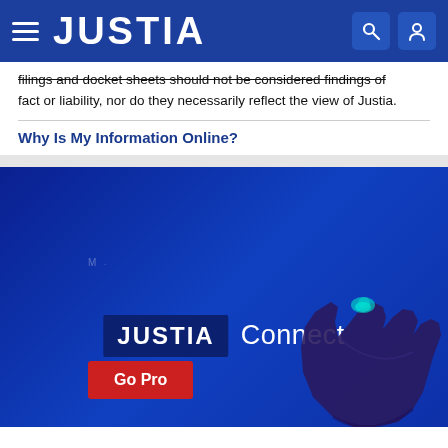JUSTIA
filings and docket sheets should not be considered findings of fact or liability, nor do they necessarily reflect the view of Justia.
Why Is My Information Online?
[Figure (screenshot): Justia Connect promotional banner with blue background, JUSTIA Connect logo, a glowing hand illustration, and a red Go Pro button]